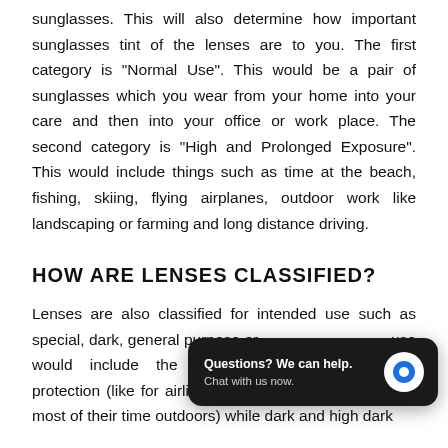sunglasses. This will also determine how important sunglasses tint of the lenses are to you. The first category is "Normal Use". This would be a pair of sunglasses which you wear from your home into your care and then into your office or work place. The second category is "High and Prolonged Exposure". This would include things such as time at the beach, fishing, skiing, flying airplanes, outdoor work like landscaping or farming and long distance driving.
HOW ARE LENSES CLASSIFIED?
Lenses are also classified for intended use such as special, dark, general purpose or use would include the use of su protection (like for airline pilots or anyone who spends most of their time outdoors) while dark and high dark...